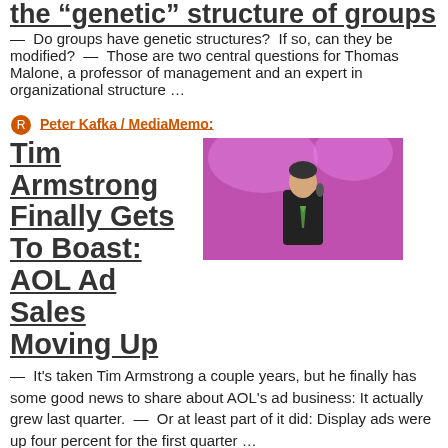the “genetic” structure of groups — Do groups have genetic structures? If so, can they be modified? — Those are two central questions for Thomas Malone, a professor of management and an expert in organizational structure …
Peter Kafka / MediaMemo:
[Figure (photo): Photo of Tim Armstrong speaking at a podium with microphone, purple background]
Tim Armstrong Finally Gets To Boast: AOL Ad Sales Moving Up
— It’s taken Tim Armstrong a couple years, but he finally has some good news to share about AOL’s ad business: It actually grew last quarter. — Or at least part of it did: Display ads were up four percent for the first quarter …
Discussion: paidContent, CNET News, FishbowlNY, VentureBeat and mediabistro.com, more at Techmeme »
RELATED:
David Kaplan / paidContent: